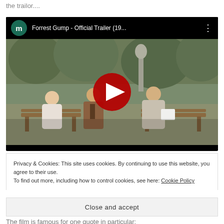the trailor....
[Figure (screenshot): YouTube embedded video player showing Forrest Gump Official Trailer (19...) with a green avatar icon labeled 'm', three-dot menu icon, and a still from the film showing people sitting on a park bench with a YouTube play button overlay]
Privacy & Cookies: This site uses cookies. By continuing to use this website, you agree to their use.
To find out more, including how to control cookies, see here: Cookie Policy
Close and accept
The film is famous for one quote in particular: